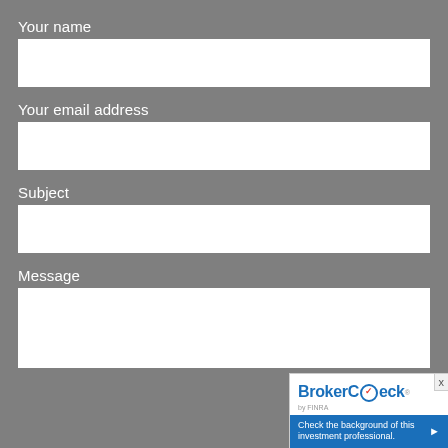Your name
Your email address
Subject
Message
[Figure (screenshot): BrokerCheck by FINRA widget overlay in bottom-right corner with 'Check the background of this investment professional.' text and red X close button.]